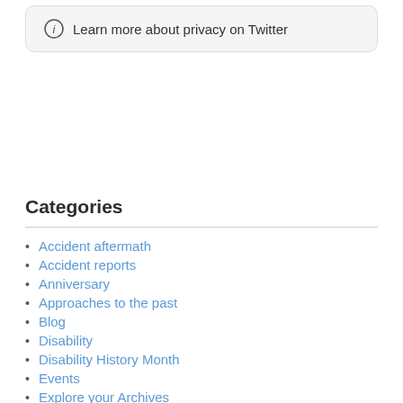Learn more about privacy on Twitter
Categories
Accident aftermath
Accident reports
Anniversary
Approaches to the past
Blog
Disability
Disability History Month
Events
Explore your Archives